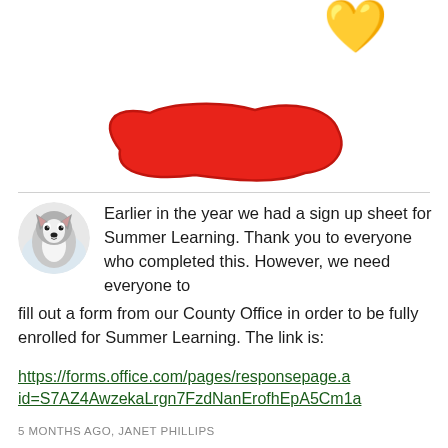[Figure (illustration): Partial gold heart emoji visible at top right corner of page]
[Figure (illustration): Red blob/paint stroke shape, hand-drawn style, in red color]
Earlier in the year we had a sign up sheet for Summer Learning. Thank you to everyone who completed this. However, we need everyone to fill out a form from our County Office in order to be fully enrolled for Summer Learning. The link is: https://forms.office.com/pages/responsepage.aspx?id=S7AZ4AwzekaLrgn7FzdNanErofhEpA5Cm1a
5 MONTHS AGO, JANET PHILLIPS